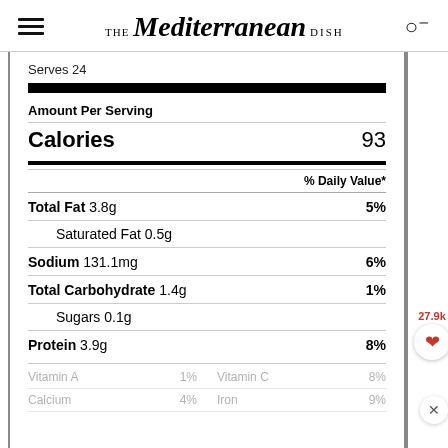THE Mediterranean DISH
Serves 24
| Nutrient | Amount | % Daily Value |
| --- | --- | --- |
| Amount Per Serving |  |  |
| Calories | 93 |  |
| % Daily Value* |  |  |
| Total Fat | 3.8g | 5% |
| Saturated Fat | 0.5g |  |
| Sodium | 131.1mg | 6% |
| Total Carbohydrate | 1.4g | 1% |
| Sugars | 0.1g |  |
| Protein | 3.9g | 8% |
| Vitamin A | 1% | Vitamin C 8% |
| Calcium | 4% | Iron 9% |